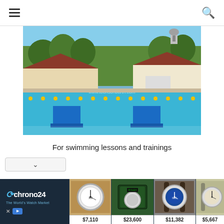Navigation bar with hamburger menu and search icon
[Figure (photo): Outdoor swimming pool with blue lane dividers, blue starting blocks, surrounded by trees and buildings with red tile roofs. Watermark text visible in center.]
For swimming lessons and trainings
[Figure (infographic): Chrono24 advertisement banner showing watch listings. Four watch images with prices: $7,110, $23,600, $11,382, $5,667. Chrono24 logo on left with tagline 'The World's Watch Market'.]